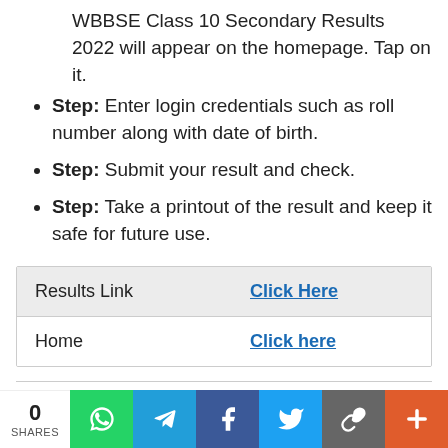WBBSE Class 10 Secondary Results 2022 will appear on the homepage. Tap on it.
Step: Enter login credentials such as roll number along with date of birth.
Step: Submit your result and check.
Step: Take a printout of the result and keep it safe for future use.
|  |  |
| --- | --- |
| Results Link | Click Here |
| Home | Click here |
Secondary result 2022 Websites for downloading the mark sheet